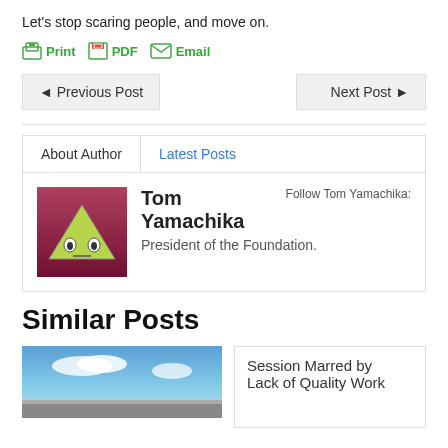Let's stop scaring people, and move on.
Print PDF Email
◄ Previous Post   Next Post ►
About Author | Latest Posts
Tom Yamachika
President of the Foundation.
Follow Tom Yamachika:
Similar Posts
Session Marred by Lack of Quality Work